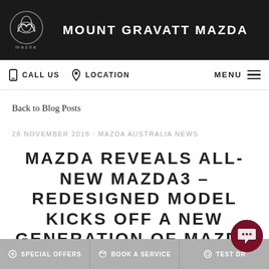MOUNT GRAVATT MAZDA
CALL US  LOCATION  MENU
Back to Blog Posts
28 NOVEMBER 2018 · MAZDA AUSTRALIA NEWS
MAZDA REVEALS ALL-NEW MAZDA3 – REDESIGNED MODEL KICKS OFF A NEW GENERATION OF MAZDA CARS
SPECIAL OFFERS  BOOK A SERVICE  TEST DR...